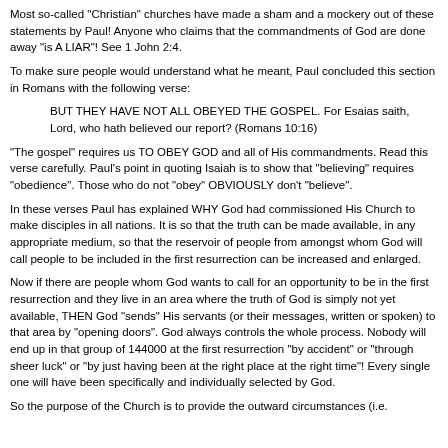Most so-called "Christian" churches have made a sham and a mockery out of these statements by Paul! Anyone who claims that the commandments of God are done away "is A LIAR"! See 1 John 2:4.
To make sure people would understand what he meant, Paul concluded this section in Romans with the following verse:
BUT THEY HAVE NOT ALL OBEYED THE GOSPEL. For Esaias saith, Lord, who hath believed our report? (Romans 10:16)
"The gospel" requires us TO OBEY GOD and all of His commandments. Read this verse carefully. Paul's point in quoting Isaiah is to show that "believing" requires "obedience". Those who do not "obey" OBVIOUSLY don't "believe".
In these verses Paul has explained WHY God had commissioned His Church to make disciples in all nations. It is so that the truth can be made available, in any appropriate medium, so that the reservoir of people from amongst whom God will call people to be included in the first resurrection can be increased and enlarged.
Now if there are people whom God wants to call for an opportunity to be in the first resurrection and they live in an area where the truth of God is simply not yet available, THEN God "sends" His servants (or their messages, written or spoken) to that area by "opening doors". God always controls the whole process. Nobody will end up in that group of 144000 at the first resurrection "by accident" or "through sheer luck" or "by just having been at the right place at the right time"! Every single one will have been specifically and individually selected by God.
So the purpose of the Church is to provide the outward circumstances (i.e.